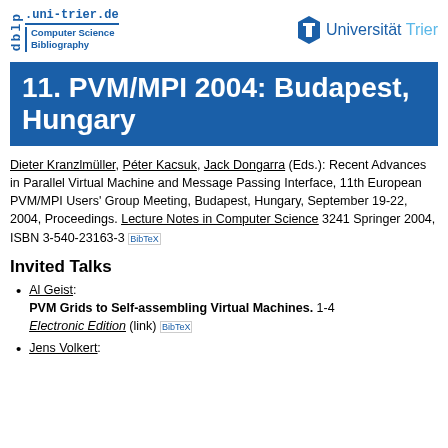[Figure (logo): DBLP Computer Science Bibliography logo with dblp.uni-trier.de text]
[Figure (logo): Universität Trier logo with shield icon]
11. PVM/MPI 2004: Budapest, Hungary
Dieter Kranzlmüller, Péter Kacsuk, Jack Dongarra (Eds.): Recent Advances in Parallel Virtual Machine and Message Passing Interface, 11th European PVM/MPI Users' Group Meeting, Budapest, Hungary, September 19-22, 2004, Proceedings. Lecture Notes in Computer Science 3241 Springer 2004, ISBN 3-540-23163-3 BibTeX
Invited Talks
Al Geist: PVM Grids to Self-assembling Virtual Machines. 1-4 Electronic Edition (link) BibTeX
Jens Volkert: